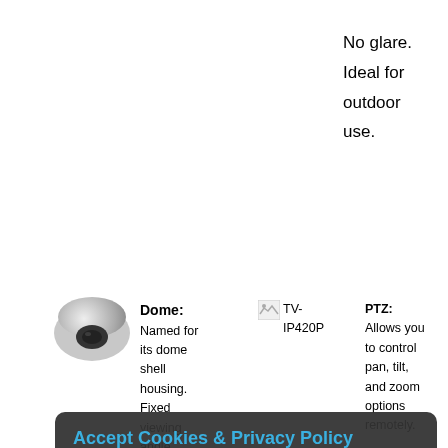No glare. Ideal for outdoor use.
[Figure (photo): Dome security camera image]
Dome: Named for its dome shell housing. Fixed viewing angle. vandal resistant design.
[Figure (photo): Broken image placeholder for TV-IP420P]
TV-IP420P
PTZ: Allows you to control pan, tilt, and zoom options remotely.
Accept Cookies & Privacy Policy
This website uses cookies to ensure you get the best experience on our website. By continuing to use our website you consent to our use of such cookies. For more information please read our Privacy Policy and Cookies Policy.
I Agree